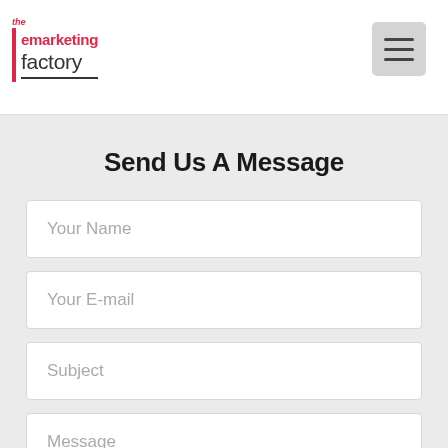[Figure (logo): The emarketing factory logo with red bar, red 'emarketing' text and dark 'factory' text with underline]
[Figure (other): Hamburger menu button (three horizontal lines) on a grey rounded square background]
Send Us A Message
Your Name
Your E-mail
Subject
Message